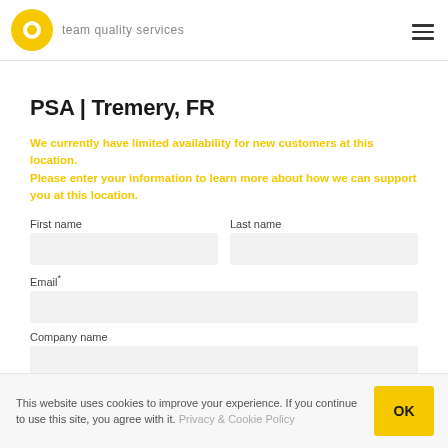[Figure (logo): Team Quality Services logo: yellow Q circle with text 'team quality services' and hamburger menu icon on the right]
PSA | Tremery, FR
We currently have limited availability for new customers at this location. Please enter your information to learn more about how we can support you at this location.
First name
Last name
Email*
Company name
This website uses cookies to improve your experience. If you continue to use this site, you agree with it. Privacy & Cookie Policy